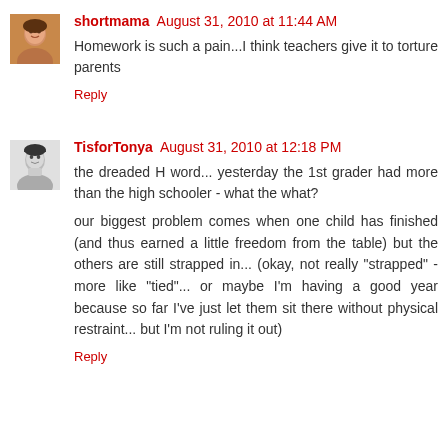shortmama August 31, 2010 at 11:44 AM
Homework is such a pain...I think teachers give it to torture parents
Reply
TisforTonya August 31, 2010 at 12:18 PM
the dreaded H word... yesterday the 1st grader had more than the high schooler - what the what?
our biggest problem comes when one child has finished (and thus earned a little freedom from the table) but the others are still strapped in... (okay, not really "strapped" - more like "tied"... or maybe I'm having a good year because so far I've just let them sit there without physical restraint... but I'm not ruling it out)
Reply